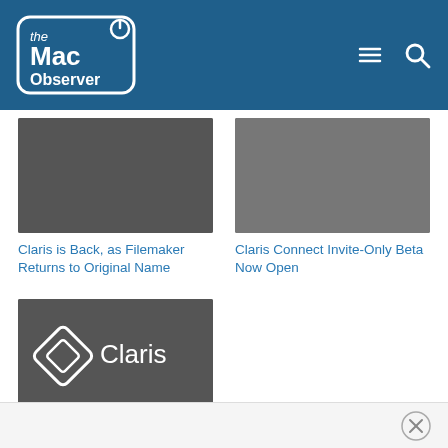The Mac Observer
[Figure (screenshot): Thumbnail image placeholder dark gray for Claris is Back article]
Claris is Back, as Filemaker Returns to Original Name
[Figure (screenshot): Thumbnail image placeholder mid gray for Claris Connect article]
Claris Connect Invite-Only Beta Now Open
[Figure (logo): Claris logo on dark gray background with Claris diamond icon and text]
Apple Subsidiary Launches Claris Connect